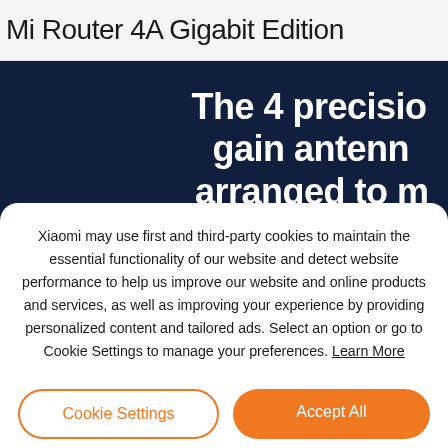Mi Router 4A Gigabit Edition
[Figure (screenshot): Dark navy banner with large white bold text reading 'The 4 precision gain antennas arranged to ma...' (cropped)]
Xiaomi may use first and third-party cookies to maintain the essential functionality of our website and detect website performance to help us improve our website and online products and services, as well as improving your experience by providing personalized content and tailored ads. Select an option or go to Cookie Settings to manage your preferences. Learn More
Cookie Settings
Accept All